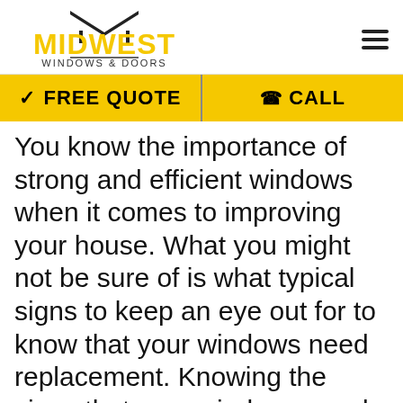[Figure (logo): Midwest Windows & Doors logo with house roof silhouette and yellow/black text]
[Figure (other): Hamburger menu icon (three horizontal lines)]
✓ FREE QUOTE | ☎CALL
You know the importance of strong and efficient windows when it comes to improving your house. What you might not be sure of is what typical signs to keep an eye out for to know that your windows need replacement. Knowing the signs that your windows need replacement will help keep your home both comfortable and efficient, especially in those cases when dealing with the ro...own.
[Figure (other): Language selector overlay showing English with US flag and dropdown chevron]